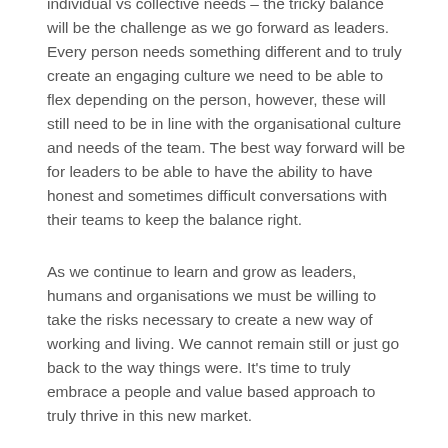individual vs collective needs – the tricky balance will be the challenge as we go forward as leaders. Every person needs something different and to truly create an engaging culture we need to be able to flex depending on the person, however, these will still need to be in line with the organisational culture and needs of the team. The best way forward will be for leaders to be able to have the ability to have honest and sometimes difficult conversations with their teams to keep the balance right.
As we continue to learn and grow as leaders, humans and organisations we must be willing to take the risks necessary to create a new way of working and living. We cannot remain still or just go back to the way things were. It's time to truly embrace a people and value based approach to truly thrive in this new market.